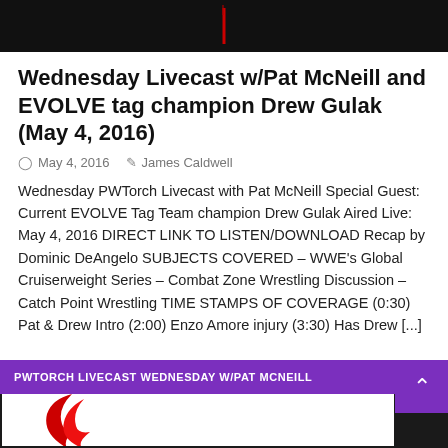[Figure (photo): Dark background header image with a red vertical element visible in the center]
Wednesday Livecast w/Pat McNeill and EVOLVE tag champion Drew Gulak (May 4, 2016)
May 4, 2016   James Caldwell
Wednesday PWTorch Livecast with Pat McNeill Special Guest: Current EVOLVE Tag Team champion Drew Gulak Aired Live: May 4, 2016 DIRECT LINK TO LISTEN/DOWNLOAD Recap by Dominic DeAngelo SUBJECTS COVERED – WWE's Global Cruiserweight Series – Combat Zone Wrestling Discussion – Catch Point Wrestling TIME STAMPS OF COVERAGE (0:30) Pat & Drew Intro (2:00) Enzo Amore injury (3:30) Has Drew [...]
[Figure (screenshot): Bottom section showing a purple banner reading PWTORCH LIVECAST WEDNESDAY W/PAT MCNEILL with a dark background and red flame graphic below, and a purple scroll-to-top button]